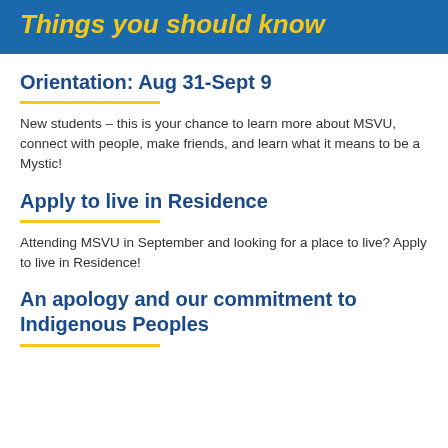Things you should know
Orientation: Aug 31-Sept 9
New students – this is your chance to learn more about MSVU, connect with people, make friends, and learn what it means to be a Mystic!
Apply to live in Residence
Attending MSVU in September and looking for a place to live? Apply to live in Residence!
An apology and our commitment to Indigenous Peoples